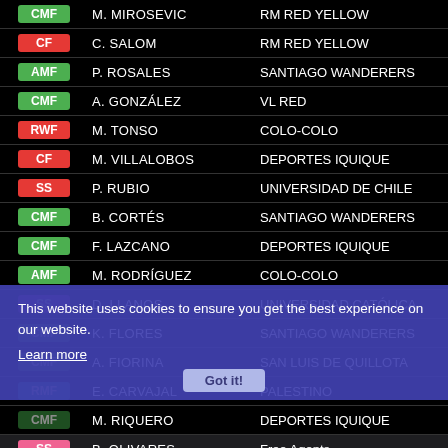| Position | Player | Club |
| --- | --- | --- |
| CMF | M. MIROSEVIC | RM RED YELLOW |
| CF | C. SALOM | RM RED YELLOW |
| AMF | P. ROSALES | SANTIAGO WANDERERS |
| CMF | A. GONZÁLEZ | VL RED |
| RWF | M. TONSO | COLO-COLO |
| CF | M. VILLALOBOS | DEPORTES IQUIQUE |
| SS | P. RUBIO | UNIVERSIDAD DE CHILE |
| CMF | B. CORTÉS | SANTIAGO WANDERERS |
| CMF | F. LAZCANO | DEPORTES IQUIQUE |
| AMF | M. RODRÍGUEZ | COLO-COLO |
| SS | D. LLANOS | UNIVERSIDAD CATÓLICA |
| CMF | K. FLORES | SANTIAGO WANDERERS |
| CMF | A. FIORINA | SAN LUIS DE QUILLOTA |
| RMF | E. CARVAJAL | PALESTINO |
| CMF | M. RIQUERO | DEPORTES IQUIQUE |
| SS | B. OLIVARES | Free Agents |
| CMF | K. HIDALGO | HUACHIPATO |
| CF | M. ARRÚA | VL RED |
| CMF | D. PROCCO | RM GREEN WHITE |
This website uses cookies to ensure you get the best experience on our website.
Learn more
Got it!